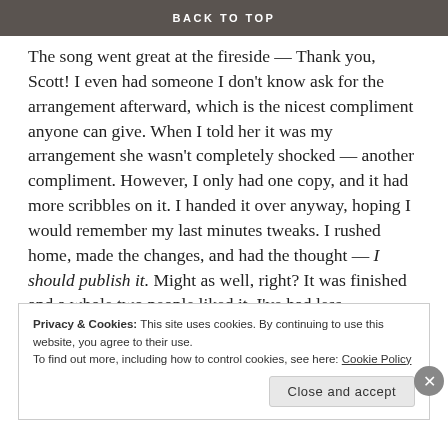BACK TO TOP
The song went great at the fireside — Thank you, Scott! I even had someone I don't know ask for the arrangement afterward, which is the nicest compliment anyone can give. When I told her it was my arrangement she wasn't completely shocked — another compliment. However, I only had one copy, and it had more scribbles on it. I handed it over anyway, hoping I would remember my last minutes tweaks. I rushed home, made the changes, and had the thought — I should publish it. Might as well, right? It was finished and a whole two people liked it. I've had less motivation before. :)
Privacy & Cookies: This site uses cookies. By continuing to use this website, you agree to their use. To find out more, including how to control cookies, see here: Cookie Policy
Close and accept